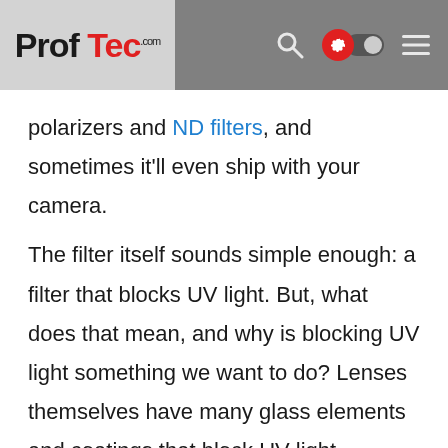ProfTec.com — navigation header with search, settings toggle, and menu icons
polarizers and ND filters, and sometimes it'll even ship with your camera.
The filter itself sounds simple enough: a filter that blocks UV light. But, what does that mean, and why is blocking UV light something we want to do? Lenses themselves have many glass elements and coatings that block UV light. Furthermore, every digital camera model leaves the factory with a bluish-green piece of IR/UV blocking glass over the sensor preinstalled. Is